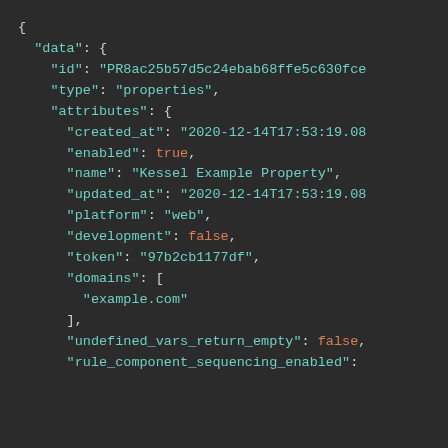JSON code block showing data object with id, type, attributes including created_at, enabled: true, name, updated_at, platform, development: false, token, domains array with example.com, undefined_vars_return_empty: false, rule_component_sequencing_enabled